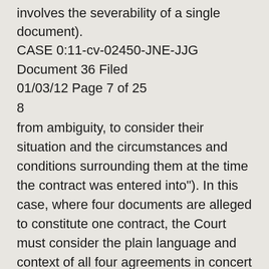involves the severability of a single document). CASE 0:11-cv-02450-JNE-JJG Document 36 Filed 01/03/12 Page 7 of 25
8
from ambiguity, to consider their situation and the circumstances and conditions surrounding them at the time the contract was entered into"). In this case, where four documents are alleged to constitute one contract, the Court must consider the plain language and context of all four agreements in concert to determine the parties’ intent. “[A]greements in writing, executed at the same time between the same parties and relating to the same subject-matter, will be considered to make one contract for the purpose of determining the meaning of the parties, though the agreements are contained in several instruments, and though they do not bear the same date, nor